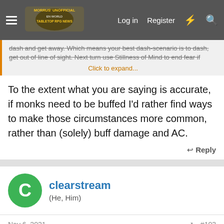Morrus' Unofficial Tabletop RPG News — Log in | Register
dash and get away. Which means your best dash-scenario is to dash, get out of line of sight. Next turn use Stillness of Mind to end fear if
Click to expand...
To the extent what you are saying is accurate, if monks need to be buffed I'd rather find ways to make those circumstances more common, rather than (solely) buff damage and AC.
↩ Reply
clearstream
(He, Him)
Nov 6, 2021   #103
Chaosmancer said:
Gloom Stalker gets an accuracy ability to retake a missed attack